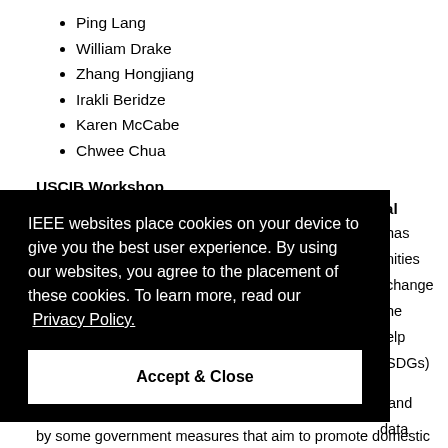Ping Lang
William Drake
Zhang Hongjiang
Irakli Beridze
Karen McCabe
Chwee Chua
USCIB Workshop
Realizing SDGs through Policies Enabling Digital Trade
19 December: 16:40-18:10 CET
IEEE websites place cookies on your device to give you the best user experience. By using our websites, you agree to the placement of these cookies. To learn more, read our Privacy Policy.
Accept & Close
has
nities
change
he
elp
SDGs)
t and
data
enged
by some government measures that aim to promote domestic